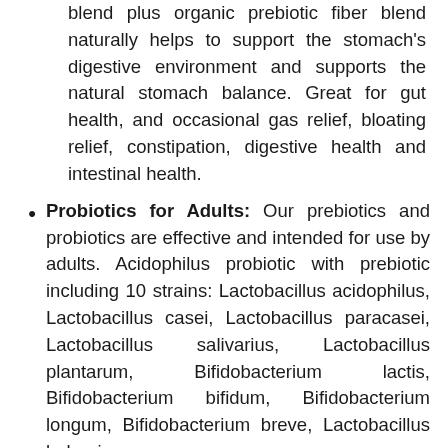blend plus organic prebiotic fiber blend naturally helps to support the stomach's digestive environment and supports the natural stomach balance. Great for gut health, and occasional gas relief, bloating relief, constipation, digestive health and intestinal health.
Probiotics for Adults: Our prebiotics and probiotics are effective and intended for use by adults. Acidophilus probiotic with prebiotic including 10 strains: Lactobacillus acidophilus, Lactobacillus casei, Lactobacillus paracasei, Lactobacillus salivarius, Lactobacillus plantarum, Bifidobacterium lactis, Bifidobacterium bifidum, Bifidobacterium longum, Bifidobacterium breve, Lactobacillus bulgaricus.
Safety Assured Standard of Quality: Our 60 Billion Probiotic is 3rd-party tested for purity and potency. Each bottle is manufactured in the USA using imported and domestic ingredients. Our probiotics